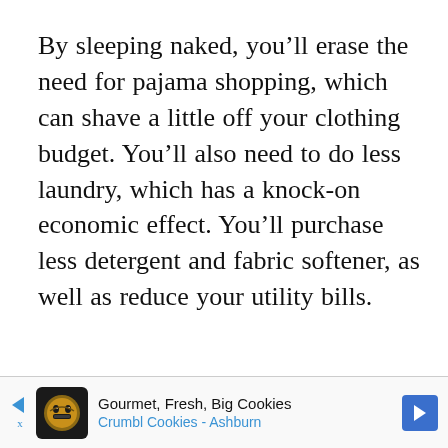By sleeping naked, you'll erase the need for pajama shopping, which can shave a little off your clothing budget. You'll also need to do less laundry, which has a knock-on economic effect. You'll purchase less detergent and fabric softener, as well as reduce your utility bills.
[Figure (infographic): Advertisement banner for Crumbl Cookies - Ashburn. Shows a cookie mascot icon, text 'Gourmet, Fresh, Big Cookies' and 'Crumbl Cookies - Ashburn', with navigation arrows.]